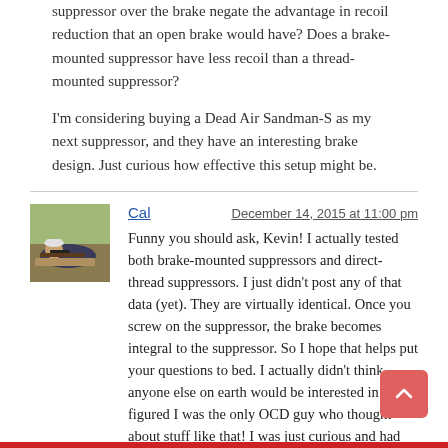suppressor over the brake negate the advantage in recoil reduction that an open brake would have? Does a brake-mounted suppressor have less recoil than a thread-mounted suppressor?
I'm considering buying a Dead Air Sandman-S as my next suppressor, and they have an interesting brake design. Just curious how effective this setup might be.
[Figure (photo): Avatar photo of user Cal holding a rifle outdoors]
Cal
December 14, 2015 at 11:00 pm
Funny you should ask, Kevin! I actually tested both brake-mounted suppressors and direct-thread suppressors. I just didn't post any of that data (yet). They are virtually identical. Once you screw on the suppressor, the brake becomes integral to the suppressor. So I hope that helps put your questions to bed. I actually didn't think anyone else on earth would be interested in that! I figured I was the only OCD guy who thought about stuff like that! I was just curious and had all the equipment setup, so I measured it. Good to know someone else could benefit from it!
Thanks,